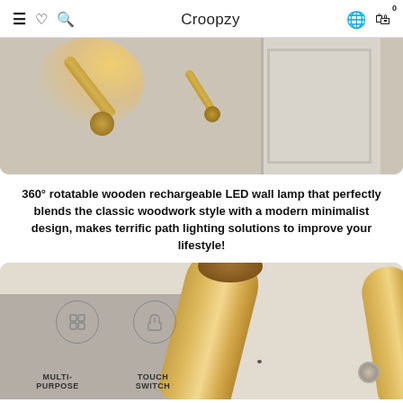Croopzy
[Figure (photo): Two wooden LED wall lamps mounted on a grey wall, one illuminated showing warm yellow light, photographed from below against a wall with a white door frame]
360° rotatable wooden rechargeable LED wall lamp that perfectly blends the classic woodwork style with a modern minimalist design, makes terrific path lighting solutions to improve your lifestyle!
[Figure (photo): Close-up of a wooden LED wall lamp tube with a grey overlay panel showing multi-purpose and touch switch icons with labels]